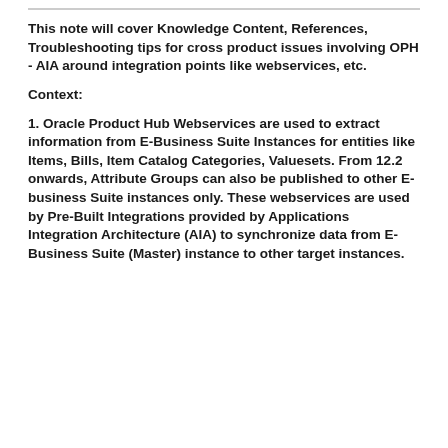This note will cover Knowledge Content, References, Troubleshooting tips for cross product issues involving OPH - AIA around integration points like webservices, etc.
Context:
1. Oracle Product Hub Webservices are used to extract information from E-Business Suite Instances for entities like Items, Bills, Item Catalog Categories, Valuesets. From 12.2 onwards, Attribute Groups can also be published to other E-business Suite instances only. These webservices are used by Pre-Built Integrations provided by Applications Integration Architecture (AIA) to synchronize data from E-Business Suite (Master) instance to other target instances.